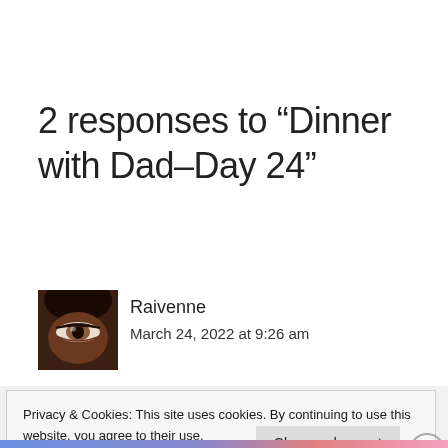2 responses to “Dinner with Dad–Day 24”
[Figure (photo): Small square avatar image showing a stylized close-up of an eye against a dark brown background, user avatar for Raivenne]
Raivenne
March 24, 2022 at 9:26 am
Privacy & Cookies: This site uses cookies. By continuing to use this website, you agree to their use.
To find out more, including how to control cookies, see here: Cookie Policy
Close and accept